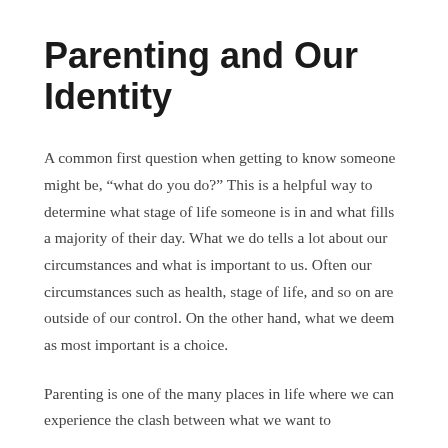Parenting and Our Identity
A common first question when getting to know someone might be, “what do you do?” This is a helpful way to determine what stage of life someone is in and what fills a majority of their day. What we do tells a lot about our circumstances and what is important to us. Often our circumstances such as health, stage of life, and so on are outside of our control. On the other hand, what we deem as most important is a choice.
Parenting is one of the many places in life where we can experience the clash between what we want to